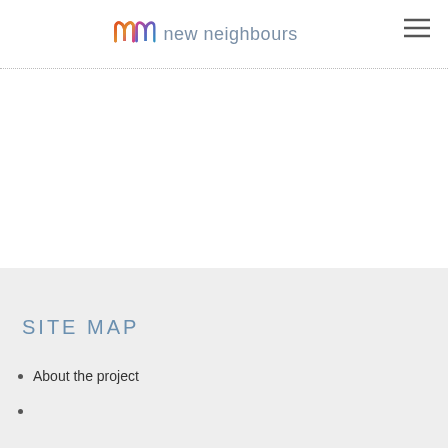[Figure (logo): New Neighbours logo with colourful 'nn' lettermark and grey text 'new neighbours']
SITE MAP
About the project